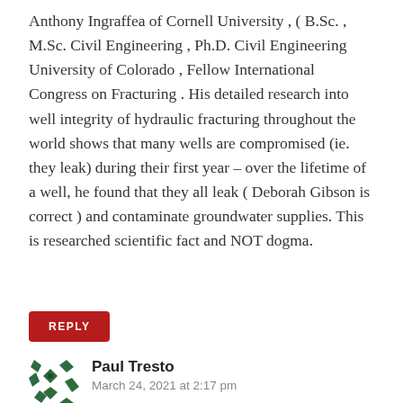Anthony Ingraffea of Cornell University , ( B.Sc. , M.Sc. Civil Engineering , Ph.D. Civil Engineering University of Colorado , Fellow International Congress on Fracturing . His detailed research into well integrity of hydraulic fracturing throughout the world shows that many wells are compromised (ie. they leak) during their first year – over the lifetime of a well, he found that they all leak ( Deborah Gibson is correct ) and contaminate groundwater supplies. This is researched scientific fact and NOT dogma.
REPLY
Paul Tresto
March 24, 2021 at 2:17 pm
Keith – examples of "leaking" wells in the UK please, onshore as that is the subject of this blog. I know of